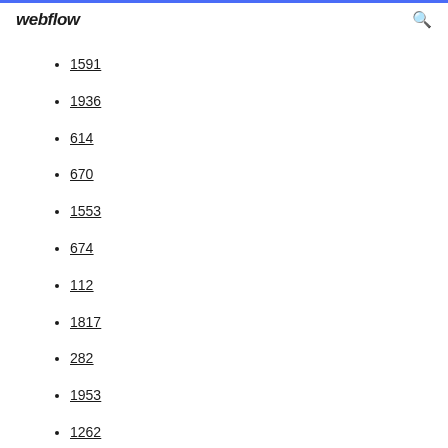webflow
1591
1936
614
670
1553
674
112
1817
282
1953
1262
390